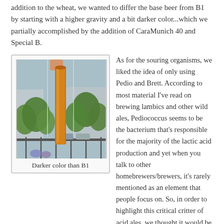addition to the wheat, we wanted to differ the base beer from B1 by starting with a higher gravity and a bit darker color...which we partially accomplished by the addition of CaraMunich 40 and Special B.
[Figure (photo): A glass cylinder/tube filled with amber/orange beer held up to a window, showing a balcony with green trees and urban buildings in the background.]
Darker color than B1
As for the souring organisms, we liked the idea of only using Pedio and Brett.  According to most material I've read on brewing lambics and other wild ales, Pediococcus seems to be the bacterium that's responsible for the majority of the lactic acid production and yet when you talk to other homebrewers/brewers, it's rarely mentioned as an element that people focus on.  So, in order to highlight this critical critter of acid ales, we thought it would be